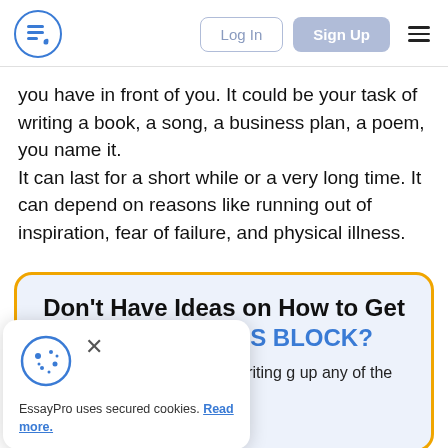Log In | Sign Up
you have in front of you. It could be your task of writing a book, a song, a business plan, a poem, you name it. It can last for a short while or a very long time. It can depend on reasons like running out of inspiration, fear of failure, and physical illness.
Don't Have Ideas on How to Get Rid of WRITER'S BLOCK?
Pro. We can assist you with writing g up any of the work you write.
EssayPro uses secured cookies. Read more.